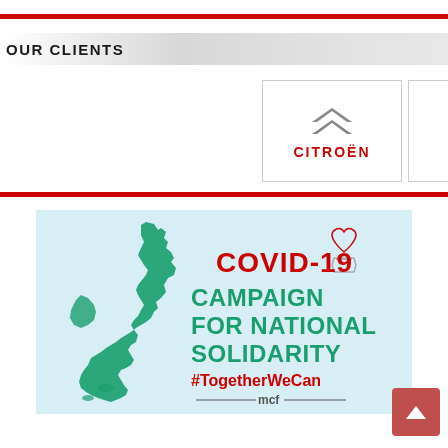OUR CLIENTS
[Figure (logo): Citroën logo with chevron symbol and red CITROËN text]
[Figure (infographic): COVID-19 Campaign for National Solidarity #TogetherWeCan - MCF campaign image with UK map in green and campaign text in red and green on light blue background]